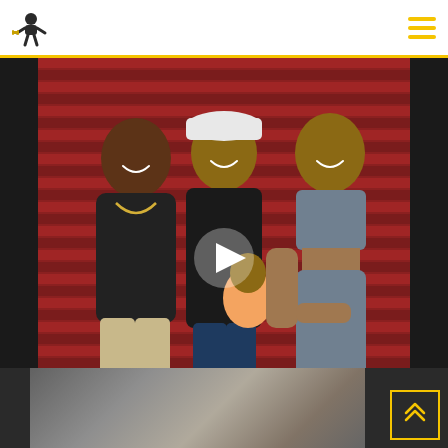Website header with logo and hamburger menu
[Figure (photo): Three people posing in front of a red corrugated metal wall/garage door. Left: a man in a dark t-shirt and khaki pants with a gold chain, giving a thumbs up. Center: a woman in a black sleeveless top and white baseball cap, holding a baby in a peach outfit. Right: a woman in a gray sports bra and gray leggings. A white play button triangle is overlaid in the center of the image.]
[Figure (photo): Partially visible thumbnail image at the bottom of the page, blurred/cropped, showing muted tones of gray and tan.]